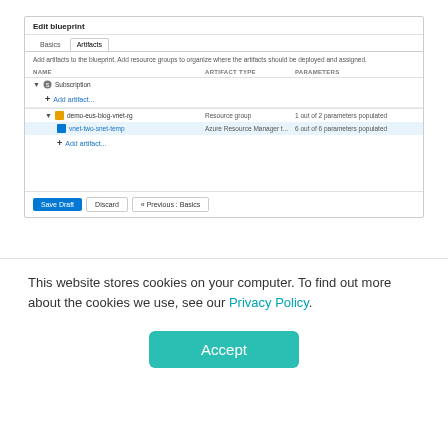[Figure (screenshot): Azure Portal 'Edit blueprint' screenshot showing Artifacts tab with subscription, resource group (demo-eus-blog-vnet-rg), and ARM template (vnet-two-snet-temp) entries, plus Save Draft, Discard, and Previous: Basics buttons.]
Click “Publish blueprint”
Fill in the version field with something like:
This website stores cookies on your computer. To find out more about the cookies we use, see our Privacy Policy.